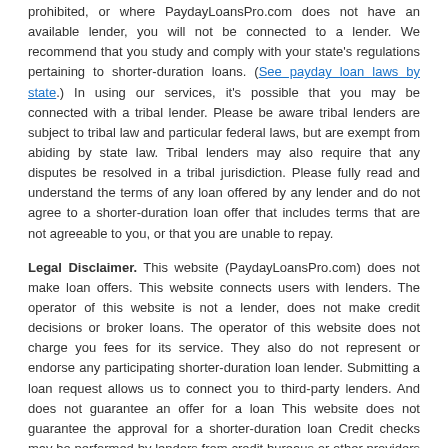prohibited, or where PaydayLoansPro.com does not have an available lender, you will not be connected to a lender. We recommend that you study and comply with your state's regulations pertaining to shorter-duration loans. (See payday loan laws by state.) In using our services, it's possible that you may be connected with a tribal lender. Please be aware tribal lenders are subject to tribal law and particular federal laws, but are exempt from abiding by state law. Tribal lenders may also require that any disputes be resolved in a tribal jurisdiction. Please fully read and understand the terms of any loan offered by any lender and do not agree to a shorter-duration loan offer that includes terms that are not agreeable to you, or that you are unable to repay.
Legal Disclaimer. This website (PaydayLoansPro.com) does not make loan offers. This website connects users with lenders. The operator of this website is not a lender, does not make credit decisions or broker loans. The operator of this website does not charge you fees for its service. They also do not represent or endorse any participating shorter-duration loan lender. Submitting a loan request allows us to connect you to third-party lenders. And does not guarantee an offer for a loan This website does not guarantee the approval for a shorter-duration loan Credit checks may be performed by lenders from credit bureaus or other providers of credit information. Consumer reports or credit checks may be made by the lender through Equifax, Experian, TransUnion, or alternative providers. You are not obligated to use this site and are not obligated to contract with any third-party lender or service provider. These disclosures are for informational purposes only and should not be considered legal advice. Not A Lender Notice. The operator of this website is NOT a lender, does not make offers for loans, and does not broker online loans to lenders. This website is not a representative or agent of any lender and does not make credit decisions. Submission of a loan request to this website does not guarantee an offer or an approval for a loan. Some lenders may require faxing of information. In some